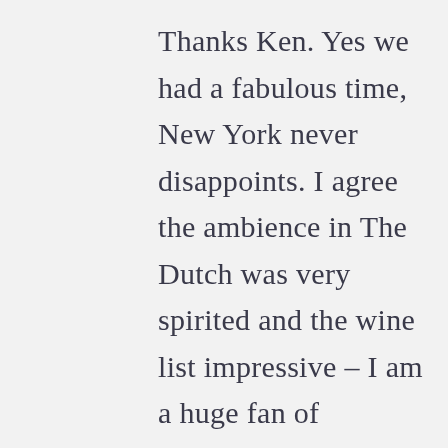Thanks Ken. Yes we had a fabulous time, New York never disappoints. I agree the ambience in The Dutch was very spirited and the wine list impressive – I am a huge fan of American wines – New World in genera. Nice manager there as well, best Torie